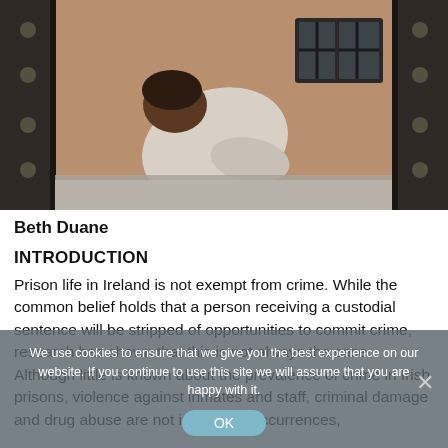[Figure (photo): A person hunched over in what appears to be a prison cell, viewed through heavy metal cell door with bolts on either side. A barred window is visible in the background.]
Beth Duane
INTRODUCTION
Prison life in Ireland is not exempt from crime. While the common belief holds that a person receiving a custodial sentence will be stripped of opportunities to commit crime, research has shown that this is not always the case. Although little is known about the prevalence of crime in Irish prisons, violence against inmates and staff, criminal damage and drug abuse are not infrequent occurrences,
We use cookies to ensure that we give you the best experience on our website. If you continue to use this site we will assume that you are happy with it.